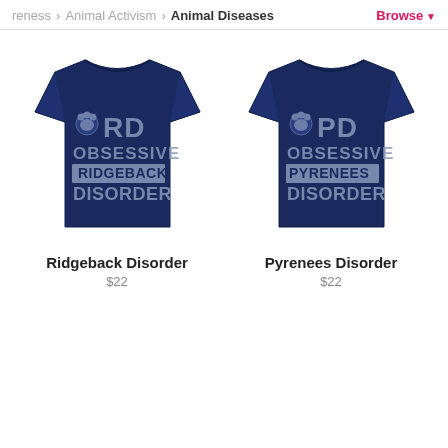reness > Animal Activism > Animal Diseases  Browse
[Figure (photo): Navy blue t-shirt with 'ORD OBSESSIVE RIDGEBACK DISORDER' text printed in distressed white lettering with paw print graphic]
Ridgeback Disorder
$22
[Figure (photo): Navy blue t-shirt with 'OPD OBSESSIVE PYRENEES DISORDER' text printed in distressed white lettering with paw print graphic]
Pyrenees Disorder
$22